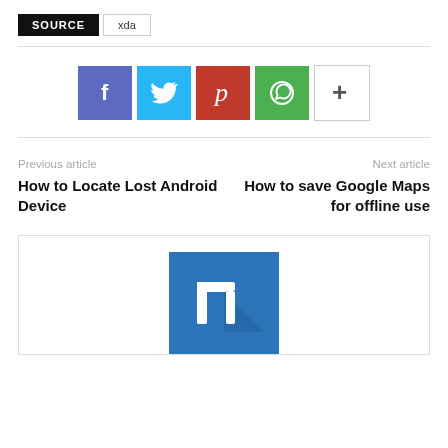SOURCE   xda
[Figure (infographic): Social sharing buttons: Facebook (blue-purple), Twitter (blue), Pinterest (red), WhatsApp (green), More/Plus (white with border)]
Previous article
How to Locate Lost Android Device
Next article
How to save Google Maps for offline use
[Figure (logo): Blue app icon with white geometric T/L shaped cursor logo]